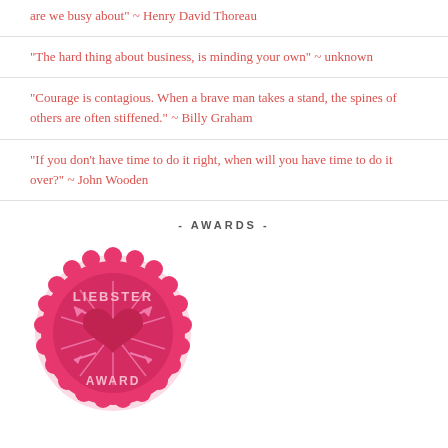are we busy about" ~ Henry David Thoreau
“The hard thing about business, is minding your own” ~ unknown
“Courage is contagious. When a brave man takes a stand, the spines of others are often stiffened.” ~ Billy Graham
“If you don’t have time to do it right, when will you have time to do it over?” ~ John Wooden
- AWARDS -
[Figure (illustration): Liebster Award badge: a pink circular scalloped badge with the text LIEBSTER at the top, AWARD at the bottom, a heart in the center, and decorative arrows and sunburst lines in pink.]